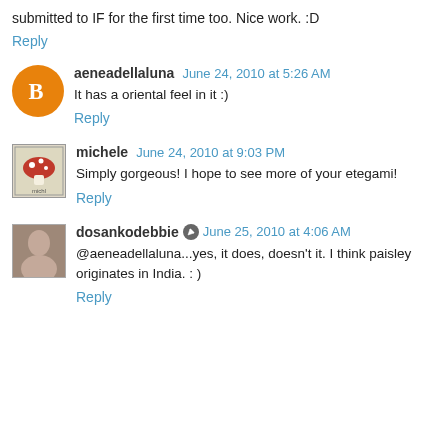submitted to IF for the first time too. Nice work. :D
Reply
aeneadellaluna June 24, 2010 at 5:26 AM
It has a oriental feel in it :)
Reply
michele June 24, 2010 at 9:03 PM
Simply gorgeous! I hope to see more of your etegami!
Reply
dosankodebbie June 25, 2010 at 4:06 AM
@aeneadellaluna...yes, it does, doesn't it. I think paisley originates in India. : )
Reply